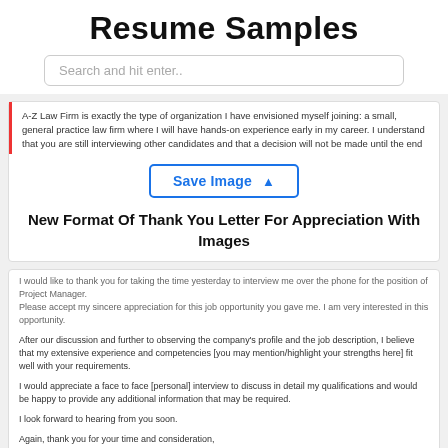Resume Samples
Search and hit enter..
A-Z Law Firm is exactly the type of organization I have envisioned myself joining: a small, general practice law firm where I will have hands-on experience early in my career. I understand that you are still interviewing other candidates and that a decision will not be made until the end
[Figure (screenshot): Save Image button with cloud upload icon]
New Format Of Thank You Letter For Appreciation With Images
I would like to thank you for taking the time yesterday to interview me over the phone for the position of Project Manager.
Please accept my sincere appreciation for this job opportunity you gave me. I am very interested in this opportunity.

After our discussion and further to observing the company's profile and the job description, I believe that my extensive experience and competencies [you may mention/highlight your strengths here] fit well with your requirements.

I would appreciate a face to face [personal] interview to discuss in detail my qualifications and would be happy to provide any additional information that may be required.

I look forward to hearing from you soon.

Again, thank you for your time and consideration,